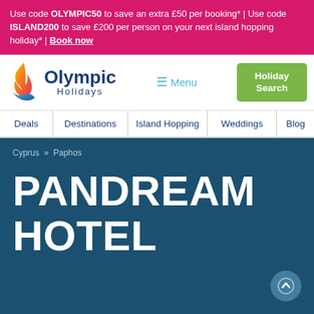Use code OLYMPIC50 to save an extra £50 per booking* | Use code ISLAND200 to save £200 per person on your next island hopping holiday* | Book now
[Figure (logo): Olympic Holidays logo with flame icon and text]
Menu
Holiday Search
Deals | Destinations | Island Hopping | Weddings | Blog
Cyprus » Paphos
PANDREAM HOTEL